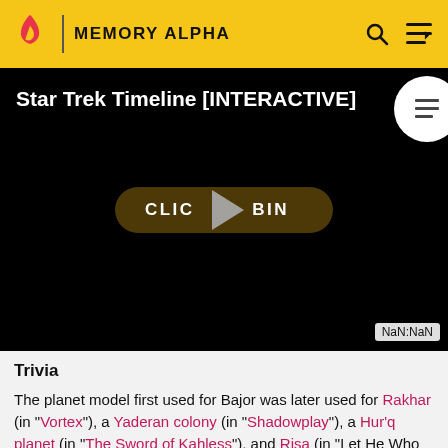MEMORY ALPHA
[Figure (screenshot): Video thumbnail with title 'Star Trek Timeline [INTERACTIVE]' on black background, a play button overlay with 'CLICK TO BEGIN' button, a circular icon button top-right, and a NaN:NaN time display bottom-right.]
Trivia
The planet model first used for Bajor was later used for Rakhar (in "Vortex"), a Yaderan colony (in "Shadowplay"), a Hur'q planet (in "The Sword of Kahless"), and Risa (in "Let He Who Is Without Sin...").